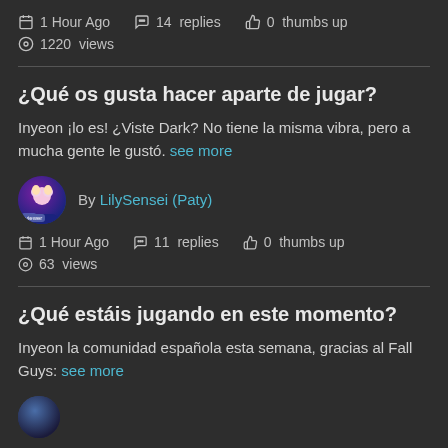1 Hour Ago   14 replies   0 thumbs up   1220 views
¿Qué os gusta hacer aparte de jugar?
Inyeon ¡lo es! ¿Viste Dark? No tiene la misma vibra, pero a mucha gente le gustó. see more
By LilySensei (Paty)
1 Hour Ago   11 replies   0 thumbs up   63 views
¿Qué estáis jugando en este momento?
Inyeon la comunidad española esta semana, gracias al Fall Guys: see more